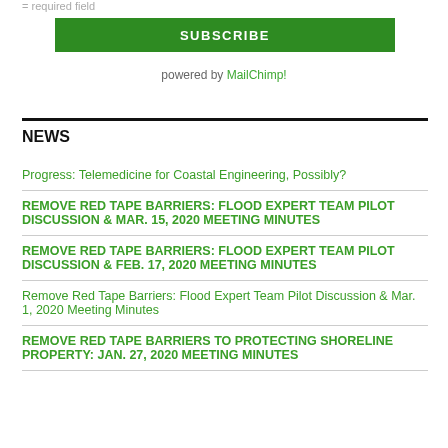= required field
SUBSCRIBE
powered by MailChimp!
NEWS
Progress: Telemedicine for Coastal Engineering, Possibly?
REMOVE RED TAPE BARRIERS: FLOOD EXPERT TEAM PILOT DISCUSSION & MAR. 15, 2020 MEETING MINUTES
REMOVE RED TAPE BARRIERS: FLOOD EXPERT TEAM PILOT DISCUSSION & Feb. 17, 2020 MEETING MINUTES
Remove Red Tape Barriers: Flood Expert Team Pilot Discussion & Mar. 1, 2020 Meeting Minutes
REMOVE RED TAPE BARRIERS TO PROTECTING SHORELINE PROPERTY: JAN. 27, 2020 MEETING MINUTES